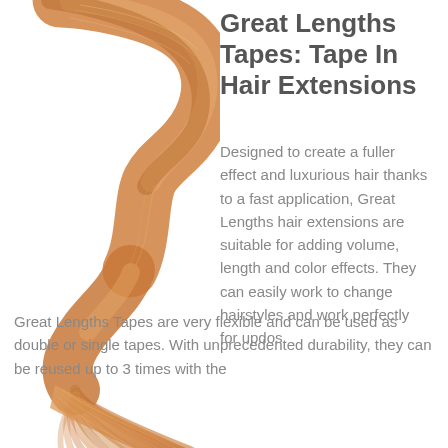[Figure (photo): A strand of golden/auburn hair extensions curling in an S-shape against white background]
Great Lengths Tapes: Tape In Hair Extensions
Designed to create a fuller effect and luxurious hair thanks to a fast application, Great Lengths hair extensions are suitable for adding volume, length and color effects. They can easily work to change hairstyles and work perfectly for updos.
Great Lengths Tapes are very flexible and can be used as double or single tapes. With unprecedented durability, they can be reused up to 3 times with the